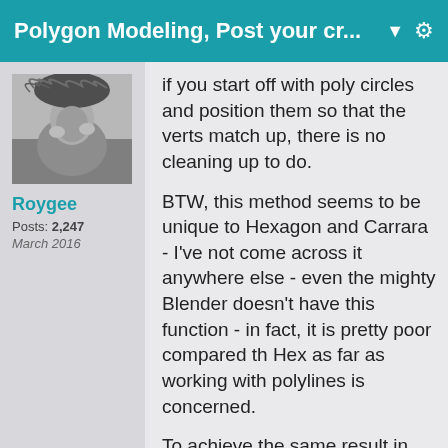Polygon Modeling, Post your cr... ▼
[Figure (photo): Black and white photo of a person wearing a feathered hat]
Roygee
Posts: 2,247
March 2016
if you start off with poly circles and position them so that the verts match up, there is no cleaning up to do.
BTW, this method seems to be unique to Hexagon and Carrara - I've not come across it anywhere else - even the mighty Blender doesn't have this function - in fact, it is pretty poor compared th Hex as far as working with polylines is concerned.
To achieve the same result in Blender, I had to delete overlapping portions of the circles, then weld verts to get